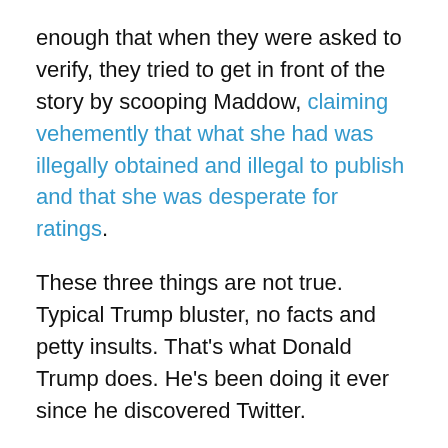enough that when they were asked to verify, they tried to get in front of the story by scooping Maddow, claiming vehemently that what she had was illegally obtained and illegal to publish and that she was desperate for ratings.
These three things are not true. Typical Trump bluster, no facts and petty insults. That's what Donald Trump does. He's been doing it ever since he discovered Twitter.
Now, what we all saw was in itself, well…not much. I think we all expected Rachel to be shaking up a martini while chortling over a giant pile of paper that was going to finally bring this White House crashing back to earth. What we saw instead was the front and back of an 11 year old return, which as all you taxpayers know, does not say a whole lot. Concretely speaking, it said Donald Trump paid his taxes in 2005, at the appropriate rates dictated by the